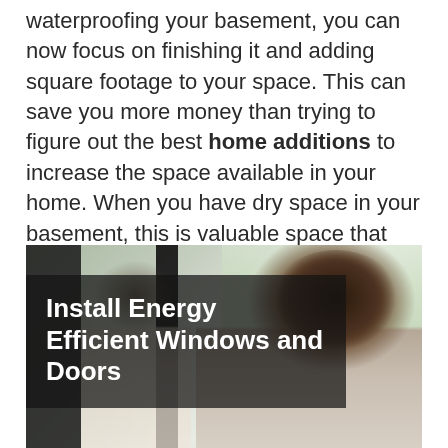waterproofing your basement, you can now focus on finishing it and adding square footage to your space. This can save you more money than trying to figure out the best home additions to increase the space available in your home. When you have dry space in your basement, this is valuable space that you can put to good use by converting it to a work office, storage area, or even living area.
[Figure (photo): Two people (man and his reflection in glass) near a window/door. Overlay text reads: Install Energy Efficient Windows and Doors]